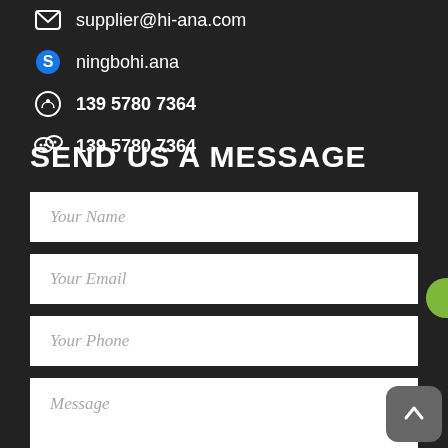supplier@hi-ana.com
ningbohi.ana
139 5780 7364
139 5780 7364
SEND US A MESSAGE
Your Name
Your Email
Your Phone
Message